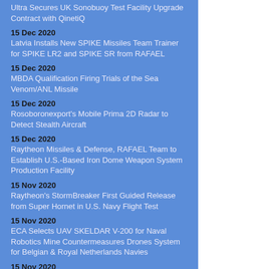Ultra Secures UK Sonobuoy Test Facility Upgrade Contract with QinetiQ
15 Dec 2020
Latvia Installs New SPIKE Missiles Team Trainer for SPIKE LR2 and SPIKE SR from RAFAEL
15 Dec 2020
MBDA Qualification Firing Trials of the Sea Venom/ANL Missile
15 Dec 2020
Rosoboronexport's Mobile Prima 2D Radar to Detect Stealth Aircraft
15 Dec 2020
Raytheon Missiles & Defense, RAFAEL Team to Establish U.S.-Based Iron Dome Weapon System Production Facility
15 Nov 2020
Raytheon's StormBreaker First Guided Release from Super Hornet in U.S. Navy Flight Test
15 Nov 2020
ECA Selects UAV SKELDAR V-200 for Naval Robotics Mine Countermeasures Drones System for Belgian & Royal Netherlands Navies
15 Nov 2020
Leonardo Delivers its First AW169 Basic Training